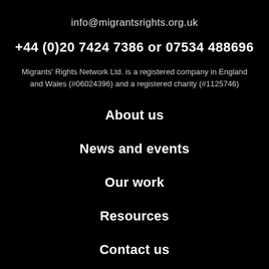info@migrantsrights.org.uk
+44 (0)20 7424 7386 or 07534 488696
Migrants' Rights Network Ltd. is a registered company in England and Wales (#06024396) and a registered charity (#1125746)
About us
News and events
Our work
Resources
Contact us